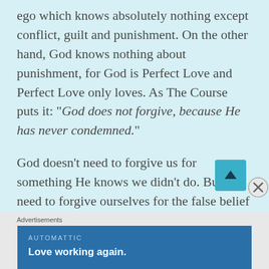ego which knows absolutely nothing except conflict, guilt and punishment. On the other hand, God knows nothing about punishment, for God is Perfect Love and Perfect Love only loves. As The Course puts it: “God does not forgive, because He has never condemned.”

God doesn’t need to forgive us for something He knows we didn’t do. But we need to forgive ourselves for the false belief that we did do it and let go of the unnecessary holding onto guilt.

When this forgiveness is received we then will go toward love unafraid of any judgment at all. An…
Advertisements
[Figure (infographic): Automattic advertisement banner with text 'Love working again.' on a blue background]